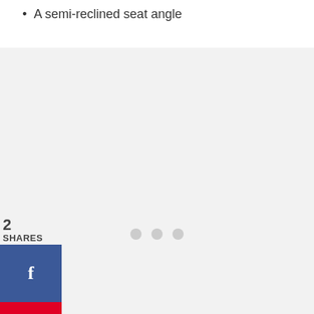A semi-reclined seat angle
[Figure (other): Advertisement placeholder box with light gray background and three loading dots in the center]
2
SHARES
[Figure (other): Facebook share button - blue square with white f icon]
[Figure (other): Pinterest share button - red square with white p icon]